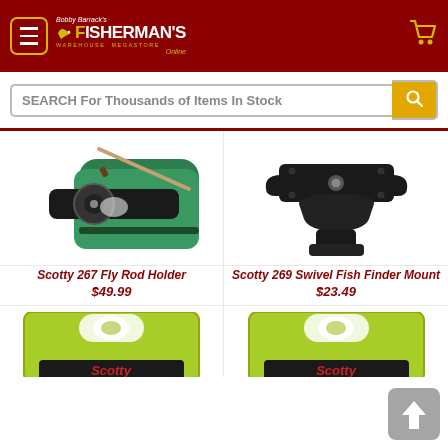Bobby Barrack's Fisherman's Warehouse Megastore Online
SEARCH For Thousands of Items In Stock
[Figure (photo): Scotty 267 Fly Rod Holder mounted on green bag with fishing rod]
Scotty 267 Fly Rod Holder
$49.99
[Figure (photo): Scotty 269 Swivel Fish Finder Mount, black plastic mount]
Scotty 269 Swivel Fish Finder Mount
$23.49
[Figure (photo): Scotty product in lime green packaging, partially visible]
[Figure (photo): Scotty product in lime green packaging, partially visible]